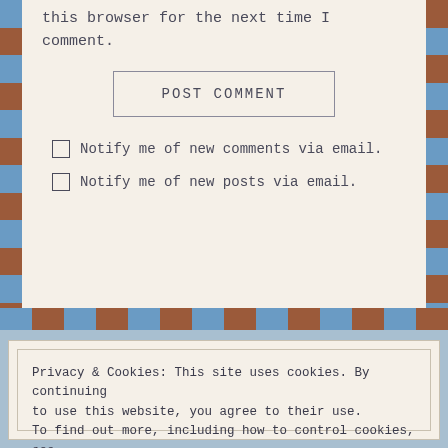this browser for the next time I comment.
POST COMMENT
Notify me of new comments via email.
Notify me of new posts via email.
Privacy & Cookies: This site uses cookies. By continuing to use this website, you agree to their use. To find out more, including how to control cookies, see here: Cookie Policy
Close and accept